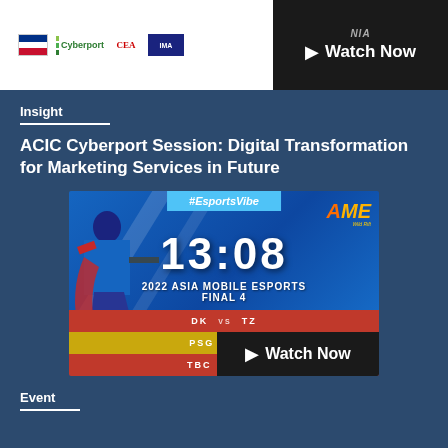[Figure (screenshot): Top banner with sponsor logos (flag, Cyberport, CEA, IMA) and a dark Watch Now button with NIA label and play icon]
Insight
ACIC Cyberport Session: Digital Transformation for Marketing Services in Future
[Figure (screenshot): Esports tournament screen showing #EsportsVibe hashtag, AME Wild Rift logo, timer 13:08, 2022 Asia Mobile Esports Final 4, matchups DK vs TZ, PSG vs ?, TBC vs TB, with Watch Now overlay button]
Event